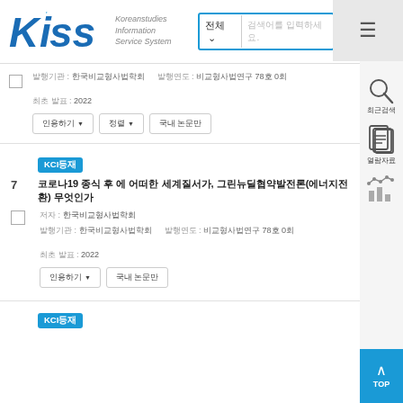[Figure (logo): KISS - Koreanstudies Information Service System logo with blue stylized letters and search bar]
검색어를 입력하세요.
발행기관 : 한국비교형사법학회  발행연도 : 비교형사법연구 78호 0회  최초 발표 : 2022
인용하기  정렬  국내 논문만
KCI등재
7  코로나19 종식 후 에 어떠한 세계질서가, 그린뉴딜협약발전론(에너지전환) 무엇인가
저자 : 한국비교형사법학회
발행기관 : 한국비교형사법학회  발행연도 : 비교형사법연구 78호 0회  최초 발표 : 2022
인용하기  국내 논문만
KCI등재
최근검색
열람자료
TOP